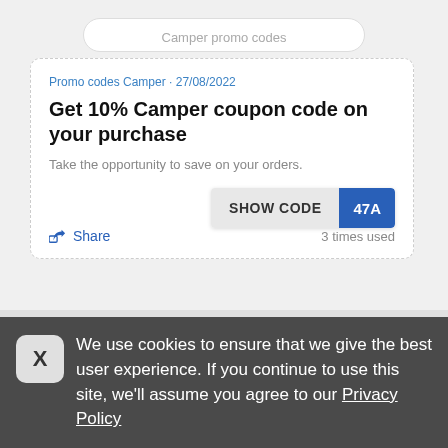Camper promo codes
Promo codes Camper · 27/08/2022
Get 10% Camper coupon code on your purchase
Take the opportunity to save on your orders.
SHOW CODE 47A
Share  3 times used
[Figure (other): Partial view of a second promo card with a blue diagonal ribbon labeled Promo]
We use cookies to ensure that we give the best user experience. If you continue to use this site, we'll assume you agree to our Privacy Policy